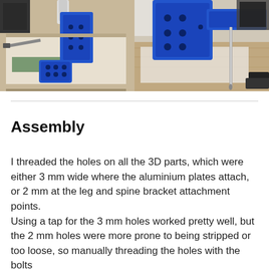[Figure (photo): Two side-by-side workshop photos showing blue 3D-printed robot parts laid on a workbench. Left photo shows a blue structural bracket and a smaller blue component with holes. Right photo shows a close-up of a larger blue bracket assembly with holes and a metal pin/rod visible.]
Assembly
I threaded the holes on all the 3D parts, which were either 3 mm wide where the aluminium plates attach, or 2 mm at the leg and spine bracket attachment points.
Using a tap for the 3 mm holes worked pretty well, but the 2 mm holes were more prone to being stripped or too loose, so manually threading the holes with the bolts